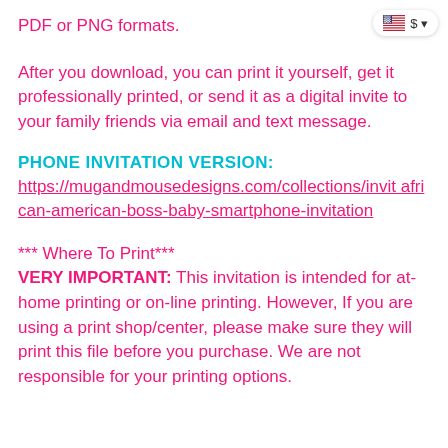PDF or PNG formats.
[Figure (logo): US flag icon with dollar sign currency selector badge in top right corner]
After you download, you can print it yourself, get it professionally printed, or send it as a digital invite to your family friends via email and text message.
PHONE INVITATION VERSION:
https://mugandmousedesigns.com/collections/invit african-american-boss-baby-smartphone-invitation
*** Where To Print***
VERY IMPORTANT: This invitation is intended for at-home printing or on-line printing. However, If you are using a print shop/center, please make sure they will print this file before you purchase. We are not responsible for your printing options.